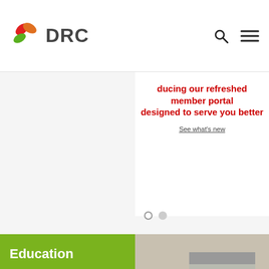[Figure (logo): DRC logo with colorful leaf shapes and DRC text]
[Figure (screenshot): Website navigation header with search and menu icons]
ducing our refreshed member portal designed to serve you better
See what's new
Education
Learn best practices for dispute prevention.
[Figure (photo): Woman carrying a cardboard box outside a warehouse]
Mediation
Resolve disputes through...
[Figure (photo): Close-up blurred image of tires or machinery]